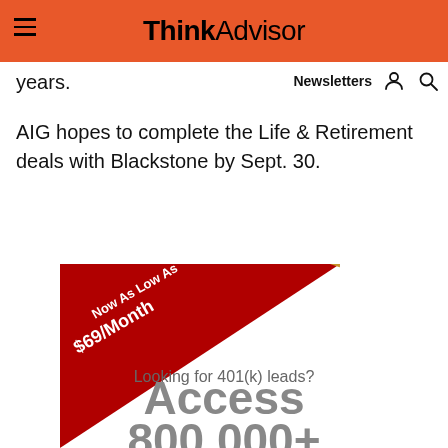ThinkAdvisor
years.
Newsletters
AIG hopes to complete the Life & Retirement deals with Blackstone by Sept. 30.
[Figure (infographic): Advertisement banner with red triangular design, text 'Now As Low As $69/Month', tagline 'Looking for 401(k) leads?', bold text 'Access 800,000+' in gray]
Looking for 401(k) leads?
Access
800,000+